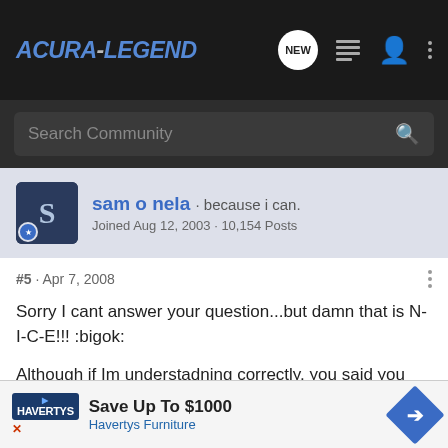Acura-Legend | Search Community
sam o nela · because i can. Joined Aug 12, 2003 · 10,154 Posts
#5 · Apr 7, 2008
Sorry I cant answer your question...but damn that is N-I-C-E!!! :bigok:
Although if Im understadning correctly, you said you have bled the coolant yet...would air in the system trigger a longer fast idle?
Speaking of, when everything was apart, did you clean out the fast idle
Save Up To $1000 Havertys Furniture